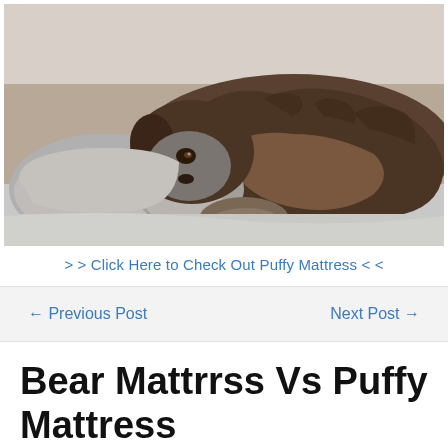[Figure (photo): An older brindle dog with grey muzzle resting its head on a grey pillow/cushion on a bed, looking tired or sad. The dog has brown and grey fur with brindle markings.]
> > Click Here to Check Out Puffy Mattress < <
← Previous Post
Next Post →
Bear Mattrrss Vs Puffy Mattress